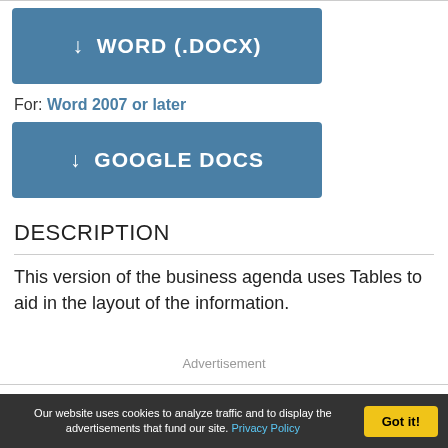[Figure (other): Download button: WORD (.DOCX) in blue]
For: Word 2007 or later
[Figure (other): Download button: GOOGLE DOCS in blue]
DESCRIPTION
This version of the business agenda uses Tables to aid in the layout of the information.
Advertisement
Committee Meeting Agenda
Our website uses cookies to analyze traffic and to display the advertisements that fund our site. Privacy Policy